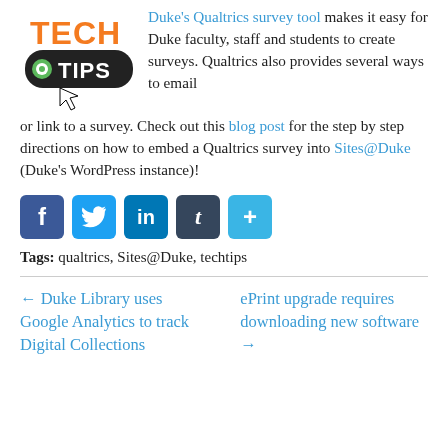[Figure (logo): Tech Tips logo with orange TECH text and green button cursor icon]
Duke's Qualtrics survey tool makes it easy for Duke faculty, staff and students to create surveys. Qualtrics also provides several ways to email or link to a survey. Check out this blog post for the step by step directions on how to embed a Qualtrics survey into Sites@Duke (Duke's WordPress instance)!
[Figure (infographic): Social sharing buttons: Facebook, Twitter, LinkedIn, Tumblr, Share]
Tags: qualtrics, Sites@Duke, techtips
← Duke Library uses Google Analytics to track Digital Collections
ePrint upgrade requires downloading new software →